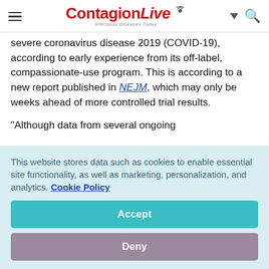ContagionLive — Infectious Diseases Today
severe coronavirus disease 2019 (COVID-19), according to early experience from its off-label, compassionate-use program. This is according to a new report published in NEJM, which may only be weeks ahead of more controlled trial results.
"Although data from several ongoing
This website stores data such as cookies to enable essential site functionality, as well as marketing, personalization, and analytics. Cookie Policy
Accept
Deny